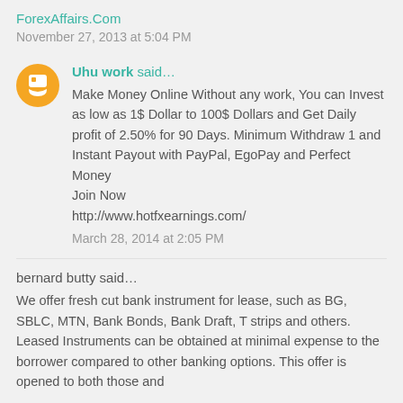ForexAffairs.Com
November 27, 2013 at 5:04 PM
Uhu work said…
Make Money Online Without any work, You can Invest as low as 1$ Dollar to 100$ Dollars and Get Daily profit of 2.50% for 90 Days. Minimum Withdraw 1 and Instant Payout with PayPal, EgoPay and Perfect Money
Join Now
http://www.hotfxearnings.com/
March 28, 2014 at 2:05 PM
bernard butty said…
We offer fresh cut bank instrument for lease, such as BG, SBLC, MTN, Bank Bonds, Bank Draft, T strips and others. Leased Instruments can be obtained at minimal expense to the borrower compared to other banking options. This offer is opened to both those and